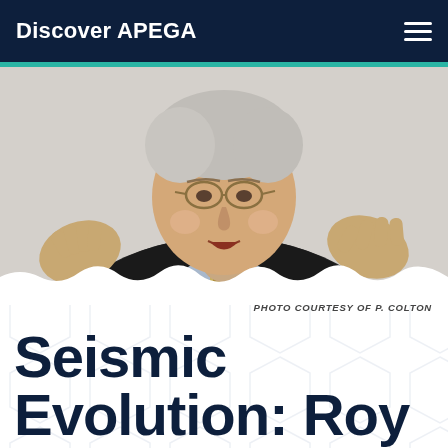Discover APEGA
[Figure (photo): Elderly man with grey hair and glasses, wearing a dark suit with blue shirt and patterned tie, gesturing with both hands while speaking, against a light background.]
PHOTO COURTESY OF P. COLTON
Seismic Evolution: Roy